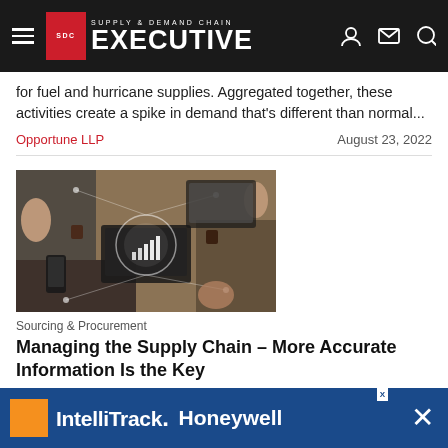Supply & Demand Chain Executive
for fuel and hurricane supplies. Aggregated together, these activities create a spike in demand that's different than normal...
Opportune LLP    August 23, 2022
[Figure (photo): Overhead view of people at a meeting table with laptops, tablets, phones, and a holographic data visualization globe with bar chart in the center]
Sourcing & Procurement
Managing the Supply Chain – More Accurate Information Is the Key
Customers... which are a "favorite vendor." If the supplier cannot provide the delivery
[Figure (infographic): IntelliTrack and Honeywell advertisement banner]